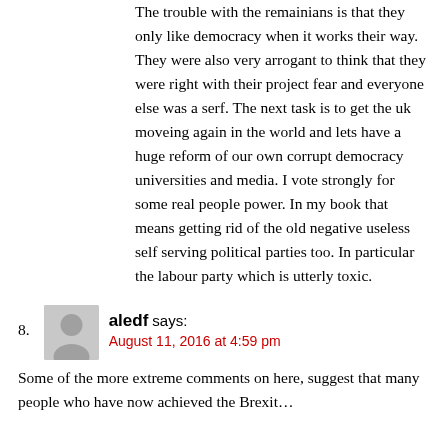The trouble with the remainians is that they only like democracy when it works their way. They were also very arrogant to think that they were right with their project fear and everyone else was a serf. The next task is to get the uk moveing again in the world and lets have a huge reform of our own corrupt democracy universities and media. I vote strongly for some real people power. In my book that means getting rid of the old negative useless self serving political parties too. In particular the labour party which is utterly toxic.
8. aledf says: August 11, 2016 at 4:59 pm Some of the more extreme comments on here, suggest that many people who have now achieved the Brexit...